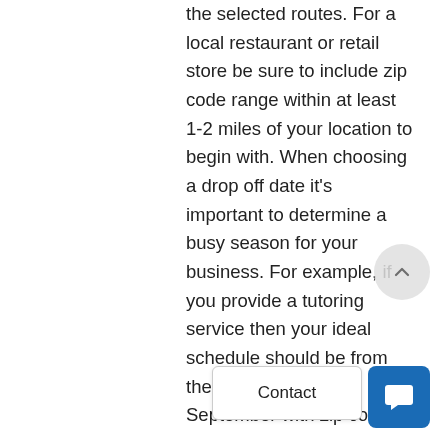the selected routes. For a local restaurant or retail store be sure to include zip code range within at least 1-2 miles of your location to begin with. When choosing a drop off date it's important to determine a busy season for your business. For example, if you provide a tutoring service then your ideal schedule should be from the end of Augu… September with zip codes